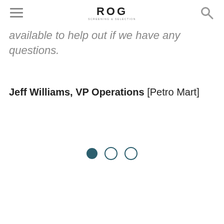ROG SCREENING & SELECTION
available to help out if we have any questions.
Jeff Williams, VP Operations [Petro Mart]
[Figure (other): Carousel navigation dots: one filled (active) and two empty circles]